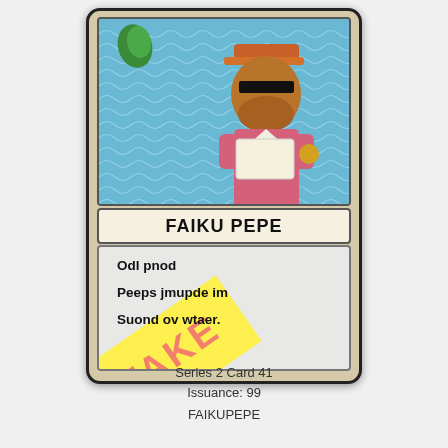[Figure (illustration): A trading card titled FAIKU PEPE featuring a cartoon frog character dressed in Japanese-style clothing with an orange hat, reading a scroll, set against a blue wave pattern background. A diagonal yellow FAKE stamp overlays the card's text area. The card has a cream/tan border and text area reading: Odl pnod / Peeps jmupde im / Suond ov wtaer.]
Series 2 Card 41
Issuance: 99
FAIKUPEPE